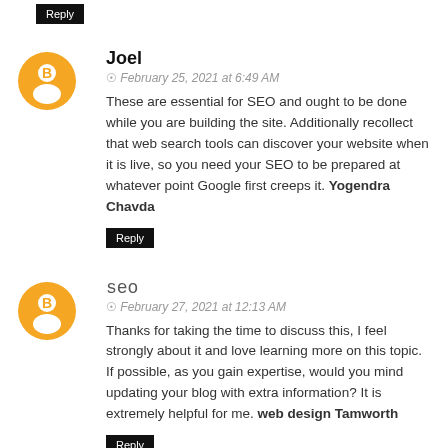Reply
Joel
February 25, 2021 at 6:49 AM
These are essential for SEO and ought to be done while you are building the site. Additionally recollect that web search tools can discover your website when it is live, so you need your SEO to be prepared at whatever point Google first creeps it. Yogendra Chavda
Reply
seo
February 27, 2021 at 12:13 AM
Thanks for taking the time to discuss this, I feel strongly about it and love learning more on this topic. If possible, as you gain expertise, would you mind updating your blog with extra information? It is extremely helpful for me. web design Tamworth
Reply
James jm